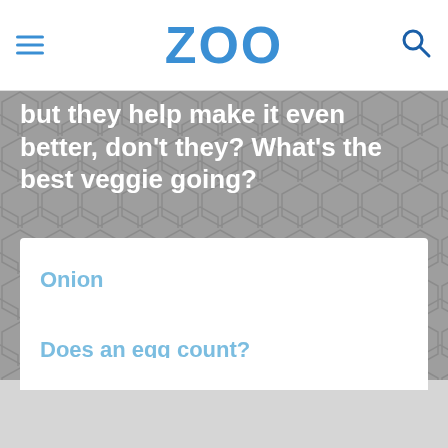ZOO
but they help make it even better, don't they? What's the best veggie going?
Onion
Does an egg count?
Avocado